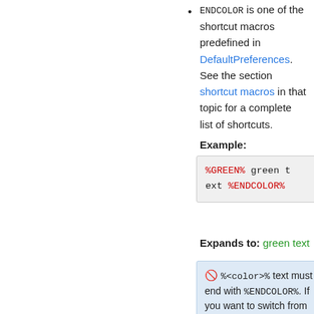ENDCOLOR is one of the shortcut macros predefined in DefaultPreferences. See the section shortcut macros in that topic for a complete list of shortcuts.
Example:
[Figure (screenshot): Code block showing: %GREEN% green text %ENDCOLOR% with %GREEN% and %ENDCOLOR% in red monospace font on a light gray background]
Expands to: green text
⓵ %<color>% text must end with %ENDCOLOR%. If you want to switch from one color to another one you first need to